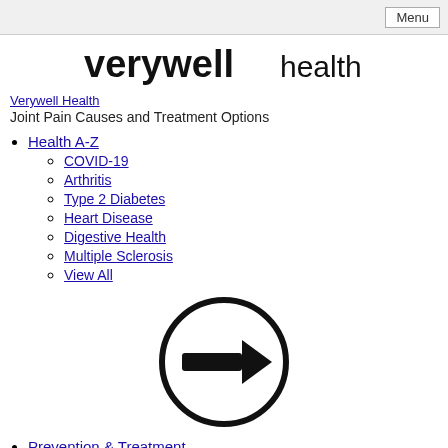Menu
[Figure (logo): Verywell Health logo with bold 'verywell' and lighter 'health' text]
Verywell Health
Joint Pain Causes and Treatment Options
Health A-Z
COVID-19
Arthritis
Type 2 Diabetes
Heart Disease
Digestive Health
Multiple Sclerosis
View All
[Figure (illustration): Circle with a right-pointing arrow inside]
Prevention & Treatment
COVID-19 Vaccines